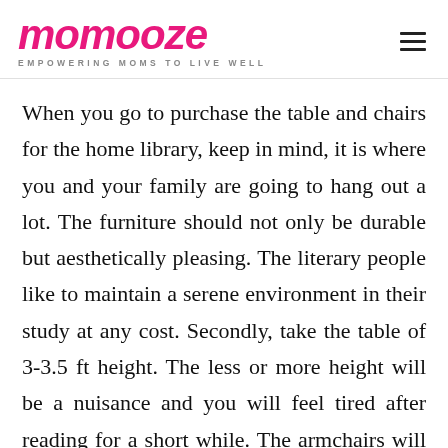momooze — EMPOWERING MOMS TO LIVE WELL
When you go to purchase the table and chairs for the home library, keep in mind, it is where you and your family are going to hang out a lot. The furniture should not only be durable but aesthetically pleasing. The literary people like to maintain a serene environment in their study at any cost. Secondly, take the table of 3-3.5 ft height. The less or more height will be a nuisance and you will feel tired after reading for a short while. The armchairs will be
fantastic for the library. Set the table and chairs right in the center of the room and